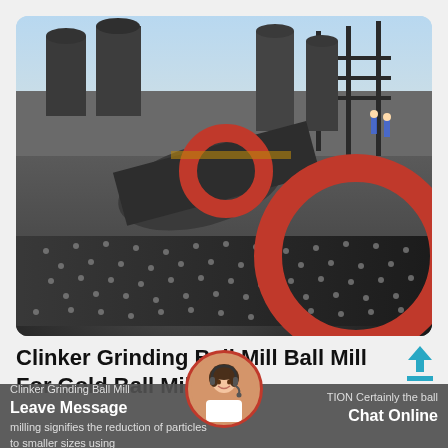[Figure (photo): Industrial ball mill machinery at a mining or cement plant. Large cylindrical black steel drums with red gear rings/flanges, studded surfaces. Multiple grinding mills visible in an outdoor industrial setting with blue sky background and structural steelwork.]
Clinker Grinding Ball Mill Ball Mill For Gold Ball Mill
Clinker Grinding Ball Mill   TION Certainly the ball milling signifies the reduction of particles to smaller sizes using